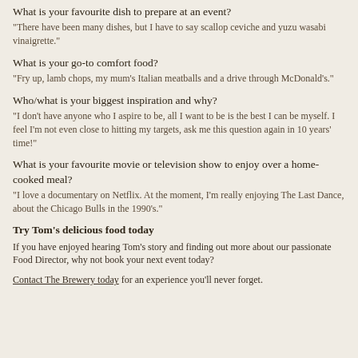What is your favourite dish to prepare at an event?
“There have been many dishes, but I have to say scallop ceviche and yuzu wasabi vinaigrette.”
What is your go-to comfort food?
“Fry up, lamb chops, my mum’s Italian meatballs and a drive through McDonald’s.”
Who/what is your biggest inspiration and why?
“I don’t have anyone who I aspire to be, all I want to be is the best I can be myself. I feel I’m not even close to hitting my targets, ask me this question again in 10 years’ time!”
What is your favourite movie or television show to enjoy over a home-cooked meal?
“I love a documentary on Netflix. At the moment, I’m really enjoying The Last Dance, about the Chicago Bulls in the 1990’s.”
Try Tom’s delicious food today
If you have enjoyed hearing Tom’s story and finding out more about our passionate Food Director, why not book your next event today?
Contact The Brewery today for an experience you’ll never forget.